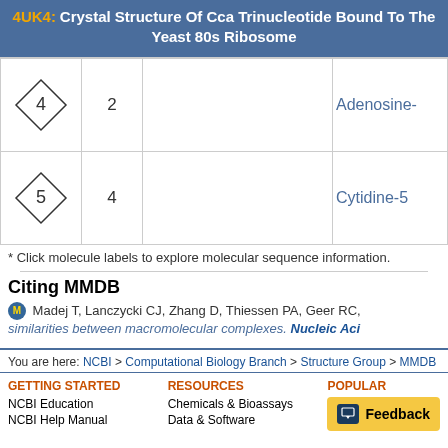4UK4: Crystal Structure Of Cca Trinucleotide Bound To The Yeast 80s Ribosome
| Icon | Num | Empty | Name |
| --- | --- | --- | --- |
| [diamond 4] | 2 |  | Adenosine- |
| [diamond 5] | 4 |  | Cytidine-5 |
* Click molecule labels to explore molecular sequence information.
Citing MMDB
Madej T, Lanczycki CJ, Zhang D, Thiessen PA, Geer RC, similarities between macromolecular complexes. Nucleic Aci
You are here: NCBI > Computational Biology Branch > Structure Group > MMDB
GETTING STARTED
RESOURCES
POPULAR
NCBI Education
Chemicals & Bioassays
NCBI Help Manual
Data & Software